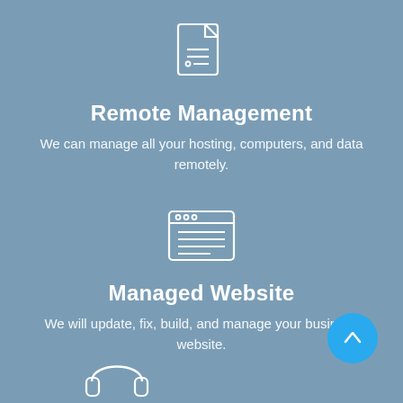[Figure (illustration): White document/file icon with lines on a blue-grey background]
Remote Management
We can manage all your hosting, computers, and data remotely.
[Figure (illustration): White browser/window icon with menu bar and content lines on a blue-grey background]
Managed Website
We will update, fix, build, and manage your business website.
[Figure (illustration): White headphones icon at the bottom of the page]
[Figure (other): Blue circular scroll-to-top button with white upward arrow]